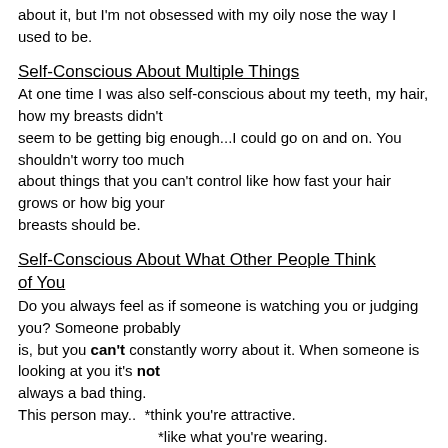about it, but I'm not obsessed with my oily nose the way I used to be.
Self-Conscious About Multiple Things
At one time I was also self-conscious about my teeth, my hair, how my breasts didn't seem to be getting big enough...I could go on and on. You shouldn't worry too much about things that you can't control like how fast your hair grows or how big your breasts should be.
Self-Conscious About What Other People Think of You
Do you always feel as if someone is watching you or judging you? Someone probably is, but you can't constantly worry about it. When someone is looking at you it's not always a bad thing.
This person may..  *think you're attractive.
                     *like what you're wearing.
                    *want to ask you out.